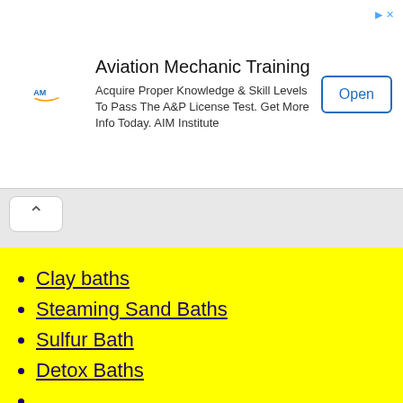[Figure (screenshot): Advertisement banner for Aviation Mechanic Training by AIM Institute with logo, description text, and Open button]
Clay baths
Steaming Sand Baths
Sulfur Bath
Detox Baths
Coconut oil Benefits
Toxic calcium
Deodorants cancer
Toxic Lipstick
Nicotine deficiency (partially visible)